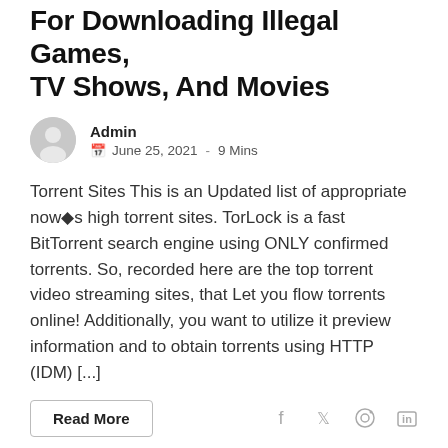… (2021) – Biggest Websites For Downloading Illegal Games, TV Shows, And Movies
Admin
June 25, 2021  -  9 Mins
Torrent Sites This is an Updated list of appropriate now◆s high torrent sites. TorLock is a fast BitTorrent search engine using ONLY confirmed torrents. So, recorded here are the top torrent video streaming sites, that Let you flow torrents online! Additionally, you want to utilize it preview information and to obtain torrents using HTTP (IDM) [...]
Read More